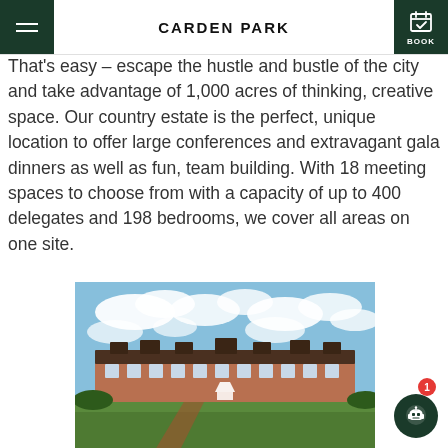CARDEN PARK
That's easy – escape the hustle and bustle of the city and take advantage of 1,000 acres of thinking, creative space. Our country estate is the perfect, unique location to offer large conferences and extravagant gala dinners as well as fun, team building. With 18 meeting spaces to choose from with a capacity of up to 400 delegates and 198 bedrooms, we cover all areas on one site.
[Figure (photo): Exterior photograph of Carden Park hotel and country estate under a blue sky with white clouds. A large Tudor-style building is visible with manicured lawns and a white gazebo in the foreground.]